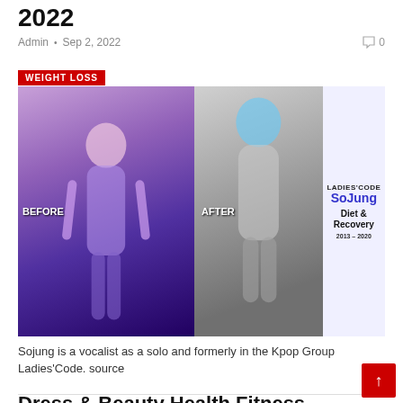2022
Admin  •  Sep 2, 2022   🗨 0
[Figure (photo): Before and after comparison photo of Ladies' Code SoJung. Left side shows 'BEFORE' label with a woman with pink/blonde hair performing. Right side shows 'AFTER' label with a woman with blue hair performing. Text overlay reads 'LADIES'CODE SoJung Diet & Recovery 2013–2020']
Sojung is a vocalist as a solo and formerly in the Kpop Group Ladies'Code. source
Dress & Beauty Health Fitness BeryLove Women Short Floral Lace Bridesmaid...